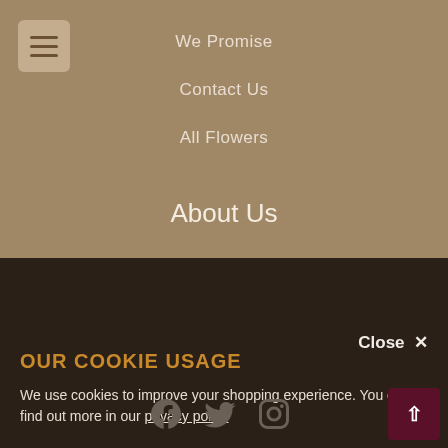We Promise
Contact Us
All Flowers
About Us
About Us
Terms and Conditions
Cookie Policy
Privacy Policy
SiteMap
OUR COOKIE USAGE
We use cookies to improve your shopping experience. You can find out more in our privacy policy
Close ×